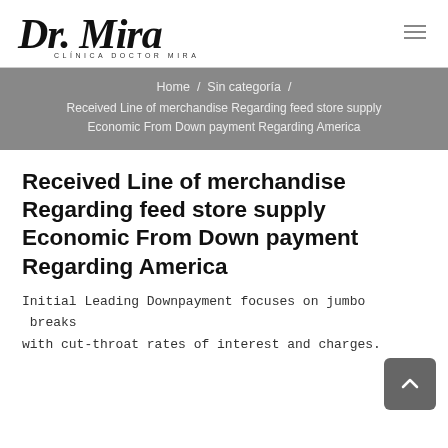Dr. Mira — CLÍNICA DOCTOR MIRA
Home / Sin categoría / Received Line of merchandise Regarding feed store supply Economic From Down payment Regarding America
Received Line of merchandise Regarding feed store supply Economic From Down payment Regarding America
Initial Leading Downpayment focuses on jumbo breaks with cut-throat rates of interest and charges.